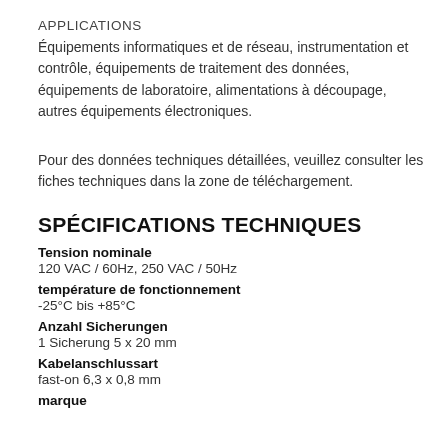APPLICATIONS
Équipements informatiques et de réseau, instrumentation et contrôle, équipements de traitement des données, équipements de laboratoire, alimentations à découpage, autres équipements électroniques.
Pour des données techniques détaillées, veuillez consulter les fiches techniques dans la zone de téléchargement.
SPÉCIFICATIONS TECHNIQUES
Tension nominale
120 VAC / 60Hz, 250 VAC / 50Hz
température de fonctionnement
-25°C bis +85°C
Anzahl Sicherungen
1 Sicherung 5 x 20 mm
Kabelanschlussart
fast-on 6,3 x 0,8 mm
marque